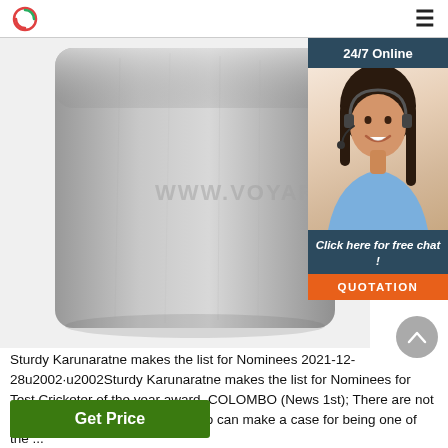www.voyarigging.com — logo and navigation
[Figure (photo): Close-up photo of a metallic cylindrical rigging component (sleeve or ferrule) on a white background, with watermark text WWW.VOYARIGGING.COM overlay. A chat widget is overlaid on the right side showing a customer service representative with headset, '24/7 Online' header, 'Click here for free chat!' text, and QUOTATION button.]
Sturdy Karunaratne makes the list for Nominees 2021-12-28u2002·u2002Sturdy Karunaratne makes the list for Nominees for Test Cricketer of the year award. COLOMBO (News 1st); There are not too many batters in world cricket who can make a case for being one of the ...
Get Price